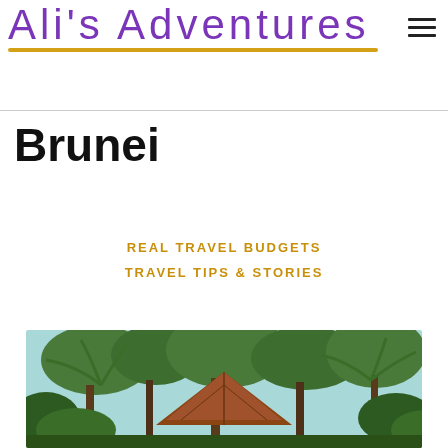Ali's Adventures
Brunei
REAL TRAVEL BUDGETS
TRAVEL TIPS & STORIES
[Figure (photo): Photo of tropical trees and a wooden/thatched roof structure in Brunei, with palm trees and lush greenery visible against a light blue sky.]